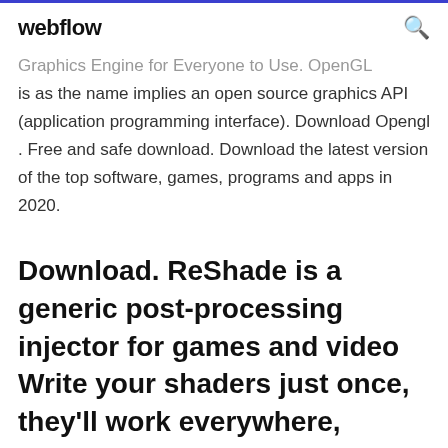webflow
Graphics Engine for Everyone to Use. OpenGL is as the name implies an open source graphics API (application programming interface). Download Opengl . Free and safe download. Download the latest version of the top software, games, programs and apps in 2020.
Download. ReShade is a generic post-processing injector for games and video Write your shaders just once, they'll work everywhere, regardless of your target being Direct3D or OpenGL: Version 4.5.3 was